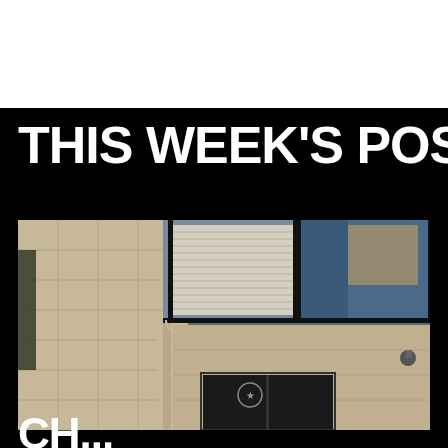THIS WEEK'S POSTS
[Figure (photo): Exterior of a modern government or institutional building with tan/beige stone facade, large glass windows with horizontal blinds visible, black window frames, a rounded corner, and a security camera mounted on the right side. The building entrance has a star-shaped logo/seal on the glass door.]
CH...